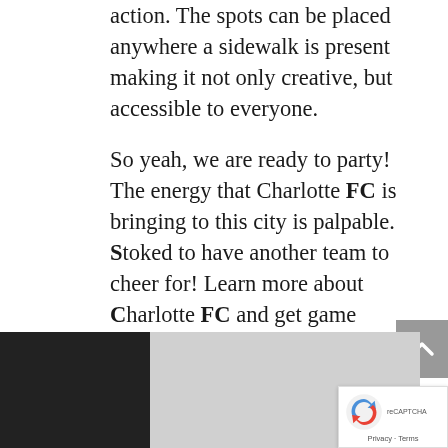action. The spots can be placed anywhere a sidewalk is present making it not only creative, but accessible to everyone.
So yeah, we are ready to party! The energy that Charlotte FC is bringing to this city is palpable. Stoked to have another team to cheer for! Learn more about Charlotte FC and get game updates on their website & Instagram.
[Figure (photo): Partial bottom image showing a dark left panel and light gray right panel, partially cropped]